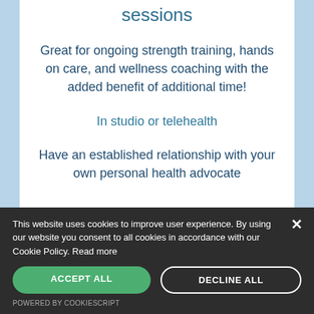sessions
Great for ongoing strength training, hands on care, and wellness coaching with the added benefit of additional time!
In studio or telehealth
Have an established relationship with your own personal health advocate
This website uses cookies to improve user experience. By using our website you consent to all cookies in accordance with our Cookie Policy. Read more
ACCEPT ALL
DECLINE ALL
POWERED BY COOKIESCRIPT